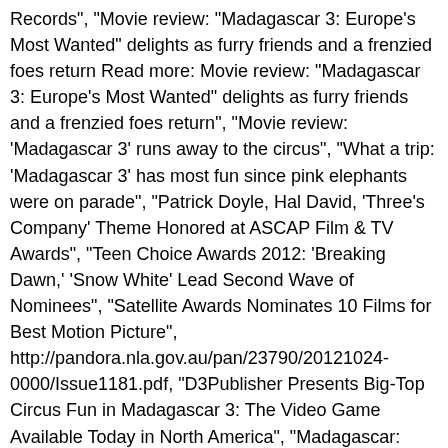Records", "Movie review: "Madagascar 3: Europe's Most Wanted" delights as furry friends and a frenzied foes return Read more: Movie review: "Madagascar 3: Europe's Most Wanted" delights as furry friends and a frenzied foes return", "Movie review: 'Madagascar 3' runs away to the circus", "What a trip: 'Madagascar 3' has most fun since pink elephants were on parade", "Patrick Doyle, Hal David, 'Three's Company' Theme Honored at ASCAP Film & TV Awards", "Teen Choice Awards 2012: 'Breaking Dawn,' 'Snow White' Lead Second Wave of Nominees", "Satellite Awards Nominates 10 Films for Best Motion Picture", http://pandora.nla.gov.au/pan/23790/20121024-0000/Issue1181.pdf, "D3Publisher Presents Big-Top Circus Fun in Madagascar 3: The Video Game Available Today in North America", "Madagascar: Join the Circus! Here is another coloring page from the upcoming movie Madagascar 3! [22] In North America, it is the highest-grossing film in the series,[17] the sixth-highest-grossing DreamWorks Animation film,[18] the second-highest-grossing 2012 animated film [23] and the tenth-highest-